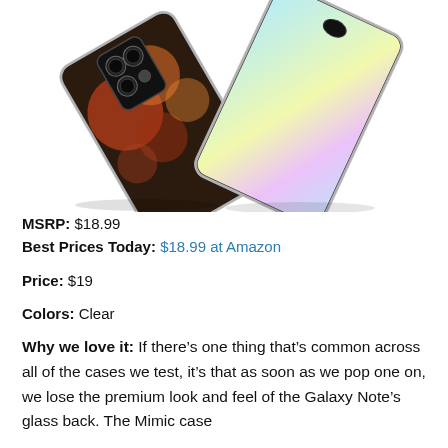[Figure (photo): Two Samsung Galaxy Note smartphones in clear transparent cases leaning against each other, showing the back cameras and the front screen with colorful holographic display.]
MSRP: $18.99
Best Prices Today: $18.99 at Amazon
Price: $19
Colors: Clear
Why we love it: If there’s one thing that’s common across all of the cases we test, it’s that as soon as we pop one on, we lose the premium look and feel of the Galaxy Note’s glass back. The Mimic case